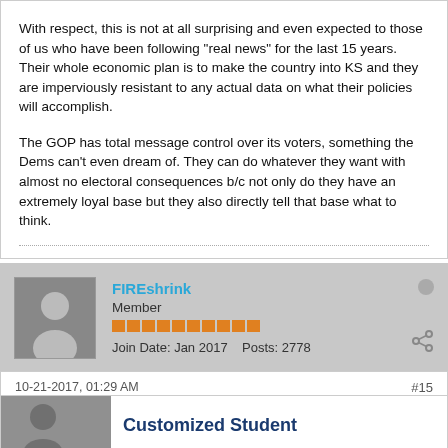With respect, this is not at all surprising and even expected to those of us who have been following "real news" for the last 15 years. Their whole economic plan is to make the country into KS and they are imperviously resistant to any actual data on what their policies will accomplish.

The GOP has total message control over its voters, something the Dems can't even dream of. They can do whatever they want with almost no electoral consequences b/c not only do they have an extremely loyal base but they also directly tell that base what to think.
FIREshrink
Member
Join Date: Jan 2017    Posts: 2778
10-21-2017, 01:29 AM
#15
Customized Student